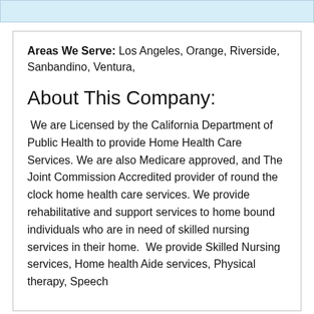Areas We Serve: Los Angeles, Orange, Riverside, Sanbandino, Ventura,
About This Company:
We are Licensed by the California Department of Public Health to provide Home Health Care Services. We are also Medicare approved, and The Joint Commission Accredited provider of round the clock home health care services. We provide rehabilitative and support services to home bound individuals who are in need of skilled nursing services in their home. We provide Skilled Nursing services, Home health Aide services, Physical therapy, Speech